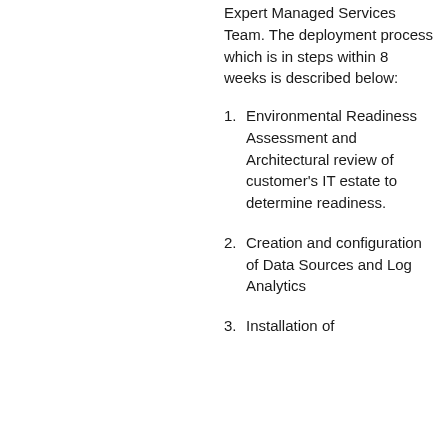Expert Managed Services Team. The deployment process which is in steps within 8 weeks is described below:
Environmental Readiness Assessment and Architectural review of customer's IT estate to determine readiness.
Creation and configuration of Data Sources and Log Analytics
Installation of